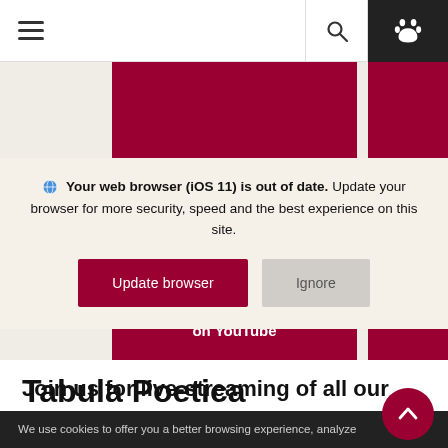Navigation bar with hamburger menu, search, and paw icon
[Figure (screenshot): Red banner blocks partially visible behind browser update warning overlay]
Your web browser (iOS 11) is out of date. Update your browser for more security, speed and the best experience on this site.
Update browser | Ignore
on YouTube
Serie
Tabula Poetica
Join us for live-streaming of all our
We use cookies to offer you a better browsing experience, analyze